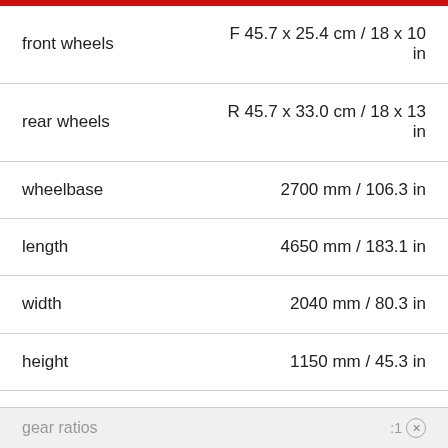| Specification | Value |
| --- | --- |
| front wheels | F 45.7 x 25.4 cm / 18 x 10 in |
| rear wheels | R 45.7 x 33.0 cm / 18 x 13 in |
| wheelbase | 2700 mm / 106.3 in |
| length | 4650 mm / 183.1 in |
| width | 2040 mm / 80.3 in |
| height | 1150 mm / 45.3 in |
| transmission | 5 or 6 Speed Manual |
gear ratios :1